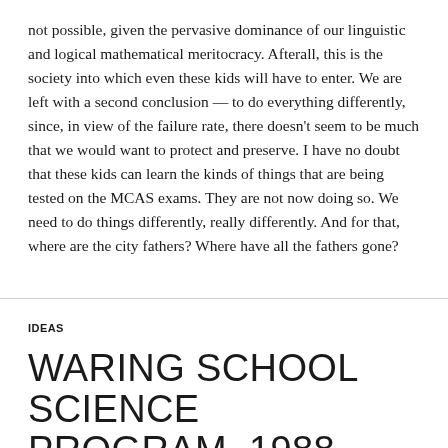not possible, given the pervasive dominance of our linguistic and logical mathematical meritocracy.  Afterall, this is the society into which even these kids will have to enter.  We are left with a second conclusion — to do everything differently, since, in view of the failure rate, there doesn't seem to be much that we would want to protect and preserve.  I have no doubt that these kids can learn the kinds of things that are being tested on the MCAS exams.  They are not now doing so.  We need to do things differently, really differently.  And for that, where are the city fathers?  Where have all the fathers gone?
IDEAS
WARING SCHOOL SCIENCE PROGRAM, 1988